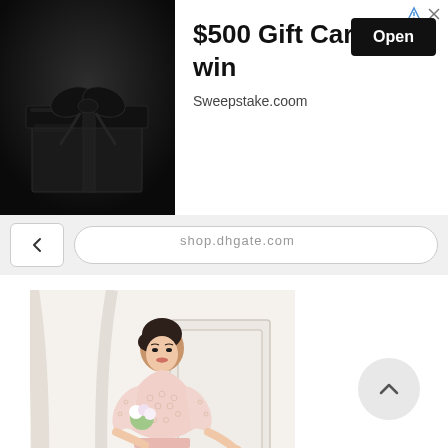[Figure (screenshot): Advertisement banner showing a dark gift box on black background with text '$500 Gift Card to win', 'Sweepstake.coom' URL, and an 'Open' button. Below is a browser navigation bar with back arrow and URL bar. Main content shows a woman in a pink lace evening gown standing in an elegant white room with gold decorative elements. A scroll-to-top button is visible at bottom right.]